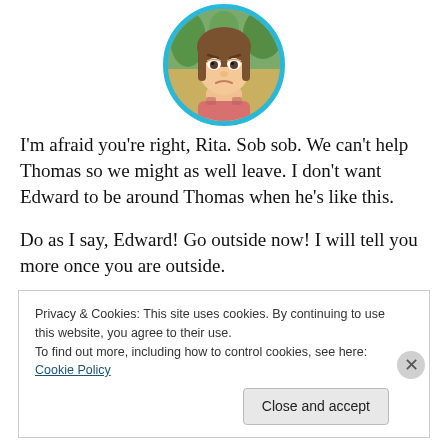[Figure (illustration): Animated-style female character face with sad/worried expression, brown hair, wearing a pink top, shown in a circular frame with a cyan/turquoise border, set against a blurred forest/nature background.]
I'm afraid you're right, Rita. Sob sob. We can't help Thomas so we might as well leave. I don't want Edward to be around Thomas when he's like this.
Do as I say, Edward! Go outside now! I will tell you more once you are outside.
Privacy & Cookies: This site uses cookies. By continuing to use this website, you agree to their use.
To find out more, including how to control cookies, see here: Cookie Policy
[Close and accept]